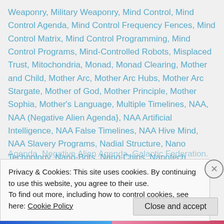Weaponry, Military Weaponry, Mind Control, Mind Control Agenda, Mind Control Frequency Fences, Mind Control Matrix, Mind Control Programming, Mind Control Programs, Mind-Controlled Robots, Misplaced Trust, Mitochondria, Monad, Monad Clearing, Mother and Child, Mother Arc, Mother Arc Hubs, Mother Arc Stargate, Mother of God, Mother Principle, Mother Sophia, Mother's Language, Multiple Timelines, NAA, NAA (Negative Alien Agenda}, NAA Artificial Intelligence, NAA False Timelines, NAA Hive Mind, NAA Slavery Programs, Nadial Structure, Nano Technology, Nano-Bots, Nano-Chips, Nanotech Biosensors, Nanotechnology, Negative Alien Agenda, Negative Alien Agenda, Galactic Federation...
Privacy & Cookies: This site uses cookies. By continuing to use this website, you agree to their use.
To find out more, including how to control cookies, see here: Cookie Policy